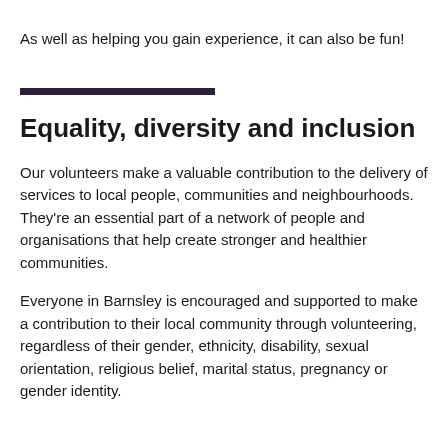As well as helping you gain experience, it can also be fun!
Equality, diversity and inclusion
Our volunteers make a valuable contribution to the delivery of services to local people, communities and neighbourhoods. They're an essential part of a network of people and organisations that help create stronger and healthier communities.
Everyone in Barnsley is encouraged and supported to make a contribution to their local community through volunteering, regardless of their gender, ethnicity, disability, sexual orientation, religious belief, marital status, pregnancy or gender identity.